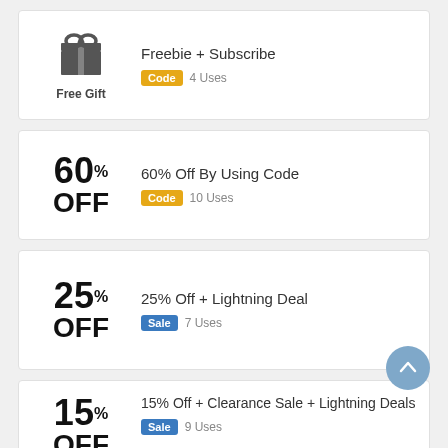[Figure (infographic): Freebie + Subscribe deal card with gift icon, Code badge, 4 Uses]
[Figure (infographic): 60% Off By Using Code deal card, Code badge, 10 Uses]
[Figure (infographic): 25% Off + Lightning Deal card, Sale badge, 7 Uses]
[Figure (infographic): 15% Off + Clearance Sale + Lightning Deals card, Sale badge, 9 Uses (partial)]